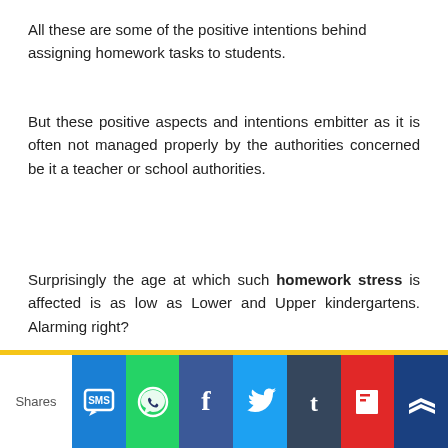All these are some of the positive intentions behind assigning homework tasks to students.
But these positive aspects and intentions embitter as it is often not managed properly by the authorities concerned be it a teacher or school authorities.
Surprisingly the age at which such homework stress is affected is as low as Lower and Upper kindergartens. Alarming right?
ductive oping ed to word. kills or
This website uses cookies to ensure you get the best experience on our website. Learn more
Shares [social share buttons: SMS, WhatsApp, Facebook, Twitter, Tumblr, Flipboard, other]